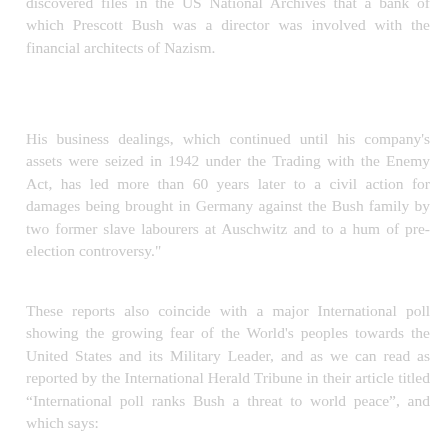discovered files in the US National Archives that a bank of which Prescott Bush was a director was involved with the financial architects of Nazism.
His business dealings, which continued until his company's assets were seized in 1942 under the Trading with the Enemy Act, has led more than 60 years later to a civil action for damages being brought in Germany against the Bush family by two former slave labourers at Auschwitz and to a hum of pre-election controversy."
These reports also coincide with a major International poll showing the growing fear of the World's peoples towards the United States and its Military Leader, and as we can read as reported by the International Herald Tribune in their article titled “International poll ranks Bush a threat to world peace”, and which says:
"A majority of people in three countries with close ties to the U.S. — Britain, Canada and Mexico — consider President George W. Bush a threat to world peace, ranking the U.S. president right up there with the leaders of two